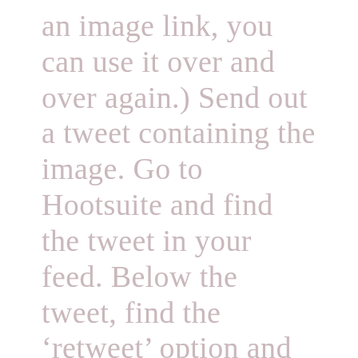an image link, you can use it over and over again.) Send out a tweet containing the image. Go to Hootsuite and find the tweet in your feed. Below the tweet, find the ‘retweet’ option and click on the drop down arrow. An option will come up to ‘edit.’ Choose that option and your tweet will appear in a box at the top of the page. The very last link